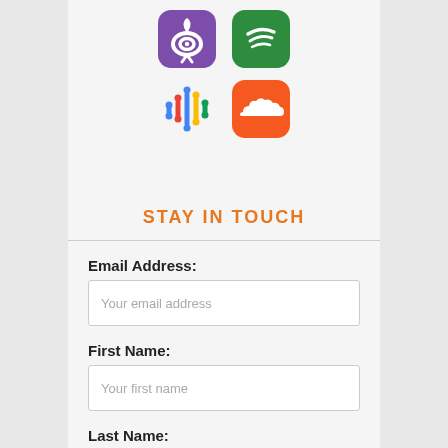[Figure (illustration): Four podcast/music app icons arranged in 2 rows: Podbean (purple), Spotify (green), Google Podcasts (colorful), SoundCloud (orange)]
STAY IN TOUCH
Email Address:
Your email address
First Name:
Your first name
Last Name:
Your last name